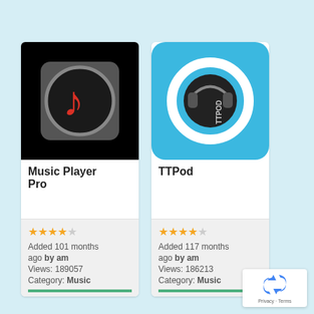[Figure (screenshot): App store listing showing two music apps: Music Player Pro and TTPod, each with icon, title, star rating, metadata, and green bottom bar]
Music Player Pro
Added 101 months ago by am
Views: 189057
Category: Music
TTPod
Added 117 months ago by am
Views: 186213
Category: Music